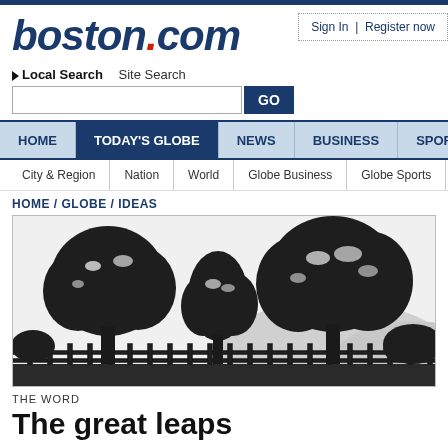boston.com
Sign In | Register now
Local Search   Site Search
HOME | TODAY'S GLOBE | NEWS | BUSINESS | SPORTS | LIFEST...
City & Region | Nation | World | Globe Business | Globe Sports | Living/...
HOME / GLOBE / IDEAS
[Figure (illustration): Silhouette illustration of trees and a fence against a grey sky background]
THE WORD
The great leaps...